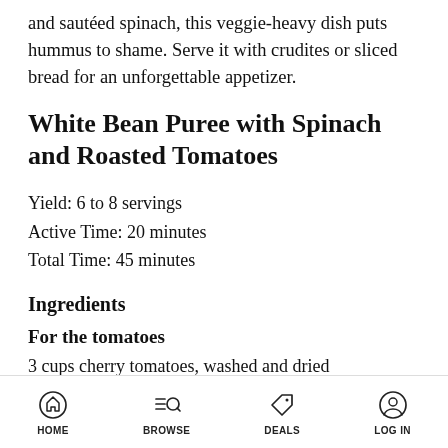and sautéed spinach, this veggie-heavy dish puts hummus to shame. Serve it with crudites or sliced bread for an unforgettable appetizer.
White Bean Puree with Spinach and Roasted Tomatoes
Yield: 6 to 8 servings
Active Time: 20 minutes
Total Time: 45 minutes
Ingredients
For the tomatoes
3 cups cherry tomatoes, washed and dried
HOME   BROWSE   DEALS   LOG IN